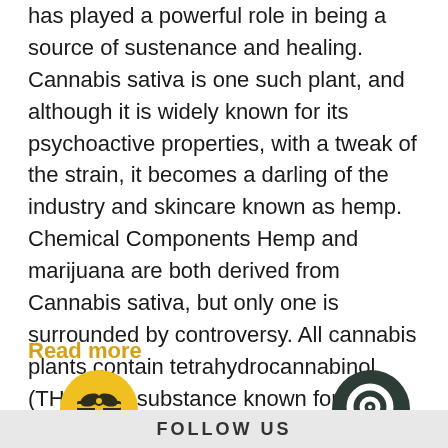has played a powerful role in being a source of sustenance and healing. Cannabis sativa is one such plant, and although it is widely known for its psychoactive properties, with a tweak of the strain, it becomes a darling of the industry and skincare known as hemp. Chemical Components Hemp and marijuana are both derived from Cannabis sativa, but only one is surrounded by controversy. All cannabis plants contain tetrahydrocannabinol (THC), the substance known for its psychoactive characteristics. However, Cannabis sativa can be cultivated for different levels of THC....
Read more
[Figure (illustration): Yellow circular icon with a gift box symbol]
[Figure (illustration): Dark green circular icon with a chat/message bubble symbol]
FOLLOW US